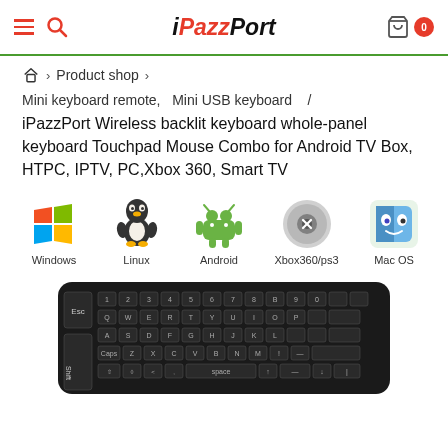iPazzPort — navigation bar with hamburger, search, logo, cart
Home > Product shop >
Mini keyboard remote,   Mini USB keyboard   /
iPazzPort Wireless backlit keyboard whole-panel keyboard Touchpad Mouse Combo for Android TV Box, HTPC, IPTV, PC,Xbox 360, Smart TV
[Figure (illustration): Five OS compatibility icons: Windows, Linux, Android, Xbox360/ps3, Mac OS]
[Figure (photo): iPazzPort mini wireless keyboard with QWERTY layout, black color, photographed from above]